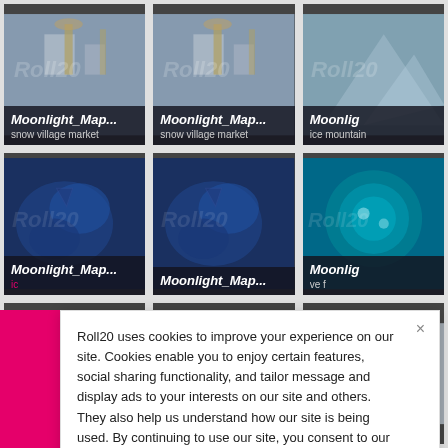[Figure (screenshot): Screenshot of Roll20 marketplace showing a 3x3 grid of fantasy map thumbnails with titles 'Moonlight_Map...' and subtitles 'snow village market', 'snow village market', 'ice mountain', and blue terrain maps, with a cookie consent banner overlaying the lower portion. A pink/magenta sidebar is partially visible on the left.]
Roll20 uses cookies to improve your experience on our site. Cookies enable you to enjoy certain features, social sharing functionality, and tailor message and display ads to your interests on our site and others. They also help us understand how our site is being used. By continuing to use our site, you consent to our use of cookies. Update your cookie preferences here.